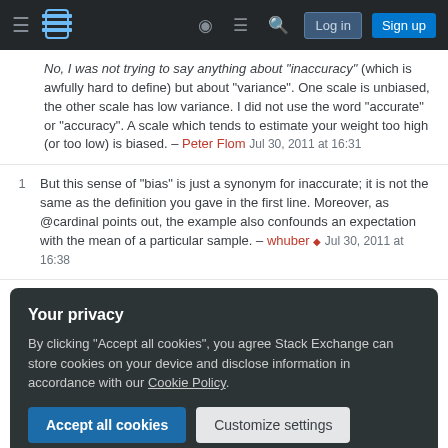Stack Exchange navigation bar with Log in and Sign up buttons
No, I was not trying to say anything about "inaccuracy" (which is awfully hard to define) but about "variance". One scale is unbiased, the other scale has low variance. I did not use the word "accurate" or "accuracy". A scale which tends to estimate your weight too high (or too low) is biased. – Peter Flom Jul 30, 2011 at 16:31
1 But this sense of "bias" is just a synonym for inaccurate; it is not the same as the definition you gave in the first line. Moreover, as @cardinal points out, the example also confounds an expectation with the mean of a particular sample. – whuber ♦ Jul 30, 2011 at 16:38
Your privacy
By clicking "Accept all cookies", you agree Stack Exchange can store cookies on your device and disclose information in accordance with our Cookie Policy.
Accept all cookies  Customize settings